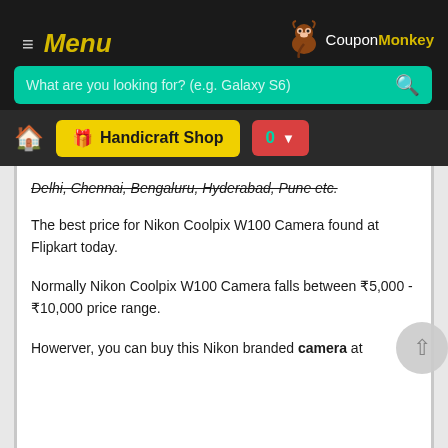Menu — CouponMonkey
What are you looking for? (e.g. Galaxy S6)
Handicraft Shop  0
Delhi, Chennai, Bengaluru, Hyderabad, Pune etc.
The best price for Nikon Coolpix W100 Camera found at Flipkart today.
Normally Nikon Coolpix W100 Camera falls between ₹5,000 - ₹10,000 price range.
Howerver, you can buy this Nikon branded camera at